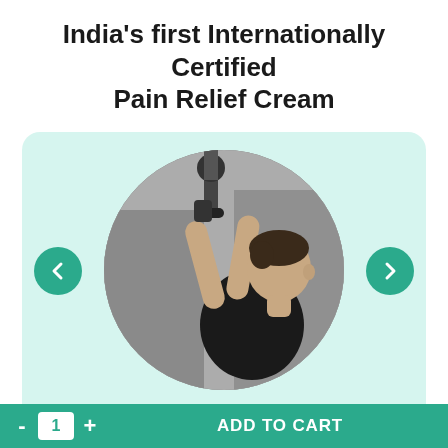India's first Internationally Certified Pain Relief Cream
[Figure (photo): A man in a black t-shirt exercising at a gym, doing a cable pulldown machine exercise, shown inside a circular cropped image on a mint/teal background card with left and right navigation arrows.]
Relief from Muscle Pain and Stiffness
- 1 + ADD TO CART